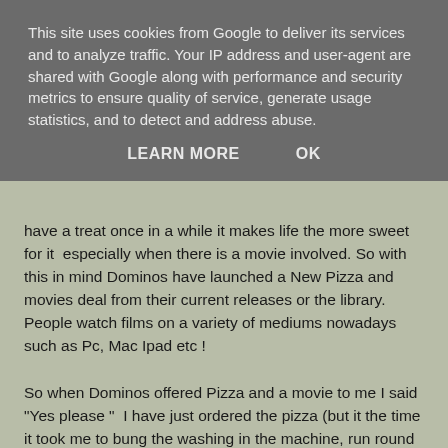This site uses cookies from Google to deliver its services and to analyze traffic. Your IP address and user-agent are shared with Google along with performance and security metrics to ensure quality of service, generate usage statistics, and to detect and address abuse.
LEARN MORE    OK
have a treat once in a while it makes life the more sweet for it especially when there is a movie involved. So with this in mind Dominos have launched a New Pizza and movies deal from their current releases or the library. People watch films on a variety of mediums nowadays such as Pc, Mac Ipad etc !
So when Dominos offered Pizza and a movie to me I said "Yes please "  I have just ordered the pizza (but it the time it took me to bung the washing in the machine, run round with the vacuum chase the cat from downstairs, make a cup of tea .) The pizza dutifully arrived I must have had a shocked expression on my face as the pizza delivery man said " You did order this didn't you ?" I said "Yes I just didn't expect it to come so quickly !"